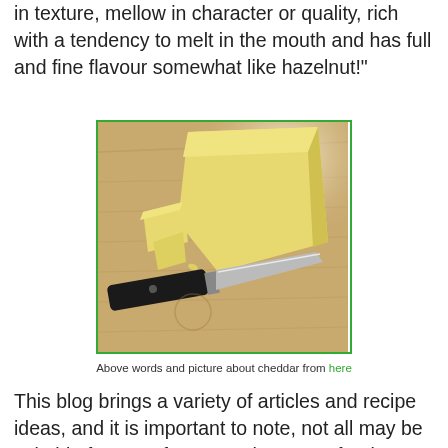in texture, mellow in character or quality, rich with a tendency to melt in the mouth and has full and fine flavour somewhat like hazelnut!"
[Figure (photo): A wedge of cheddar cheese on a wooden cutting board with a knife and small pieces of cheese cut off]
Above words and picture about cheddar from here
This blog brings a variety of articles and recipe ideas, and it is important to note, not all may be suitable for you. If you may have any food allergies, or underlying health issues these must always be taken into account. If you are a diabetic and not sure how certain foods may affect your